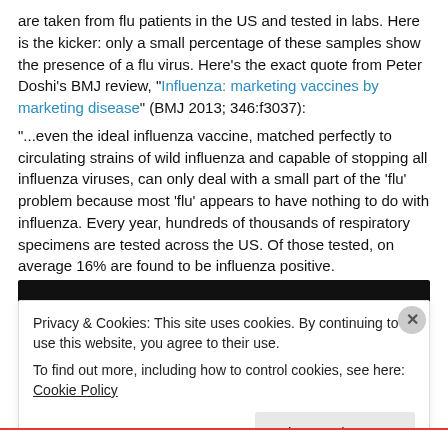are taken from flu patients in the US and tested in labs. Here is the kicker: only a small percentage of these samples show the presence of a flu virus. Here's the exact quote from Peter Doshi's BMJ review, "Influenza: marketing vaccines by marketing disease" (BMJ 2013; 346:f3037): "...even the ideal influenza vaccine, matched perfectly to circulating strains of wild influenza and capable of stopping all influenza viruses, can only deal with a small part of the 'flu' problem because most 'flu' appears to have nothing to do with influenza. Every year, hundreds of thousands of respiratory specimens are tested across the US. Of those tested, on average 16% are found to be influenza positive. "...It's no wonder so many people feel that 'flu shots' don't work: for most flus, they can't." Because most diagnosed cases of the flu aren't the flu.
[Figure (screenshot): Dark black banner/image bar, partially obscured by cookie consent overlay]
Privacy & Cookies: This site uses cookies. By continuing to use this website, you agree to their use. To find out more, including how to control cookies, see here: Cookie Policy
Close and accept